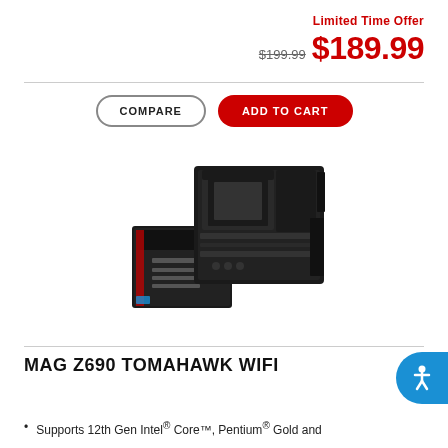Limited Time Offer
$199.99  $189.99
COMPARE  ADD TO CART
[Figure (photo): MSI MAG Z690 TOMAHAWK WIFI motherboard with product box, dark colored ATX board with box packaging shown in front]
MAG Z690 TOMAHAWK WIFI
Supports 12th Gen Intel® Core™, Pentium® Gold and